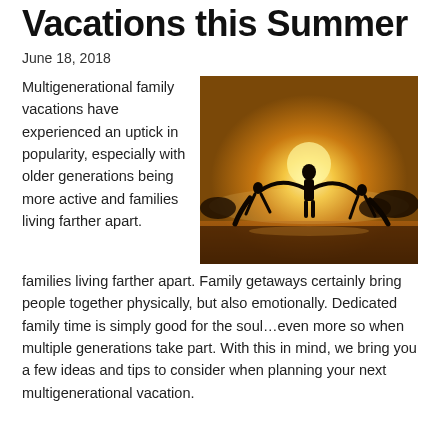Vacations this Summer
June 18, 2018
Multigenerational family vacations have experienced an uptick in popularity, especially with older generations being more active and families living farther apart.
[Figure (photo): Silhouette of a father standing on a beach at sunset, arms outstretched, holding hands with two children who are swinging outward.]
Family getaways certainly bring people together physically, but also emotionally. Dedicated family time is simply good for the soul…even more so when multiple generations take part. With this in mind, we bring you a few ideas and tips to consider when planning your next multigenerational vacation.